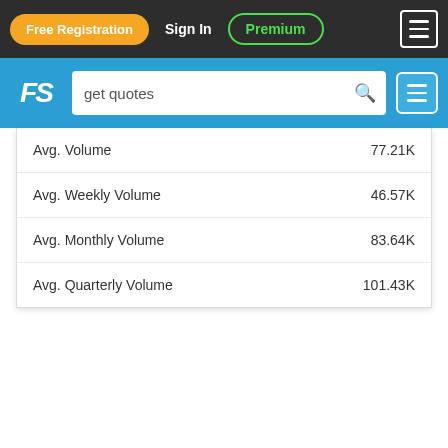Free Registration | Sign In | Premium | Menu
[Figure (screenshot): FS logo with search bar containing 'get quotes' and a menu button on a blue background]
| Metric | Value |
| --- | --- |
| Avg. Volume | 77.21K |
| Avg. Weekly Volume | 46.57K |
| Avg. Monthly Volume | 83.64K |
| Avg. Quarterly Volume | 101.43K |